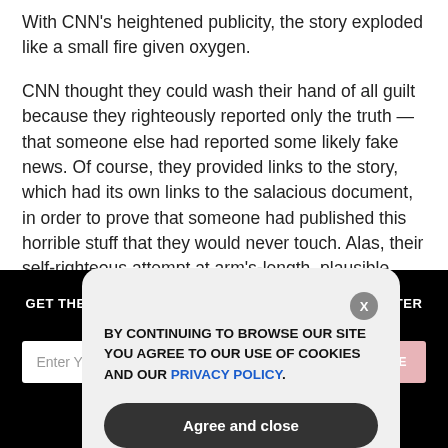With CNN's heightened publicity, the story exploded like a small fire given oxygen.
CNN thought they could wash their hand of all guilt because they righteously reported only the truth — that someone else had reported some likely fake news. Of course, they provided links to the story, which had its own links to the salacious document, in order to prove that someone had published this horrible stuff that they would never touch. Alas, their self-righteous attempt at arm's-length, plausible
[Figure (screenshot): Dark section with newsletter signup: 'GET THE WORLD'S BEST NATURAL HEALTH NEWSLETTER DELIVERED STRAIGHT TO YOUR INBOX' with email input and SUBSCRIBE button, overlaid by a cookie consent modal stating 'BY CONTINUING TO BROWSE OUR SITE YOU AGREE TO OUR USE OF COOKIES AND OUR PRIVACY POLICY.' with an 'Agree and close' button and X close button.]